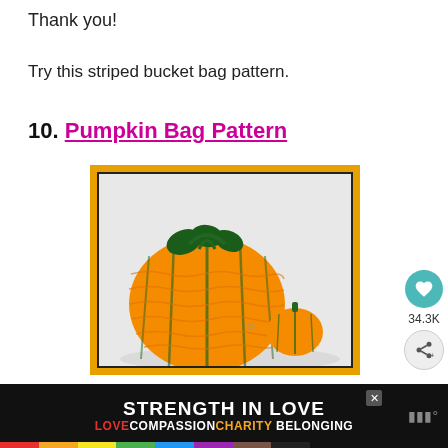Thank you!
Try this striped bucket bag pattern.
10. Pumpkin Bag Pattern
[Figure (photo): Crocheted orange pumpkin drawstring bag with green accents, next to a small crocheted pumpkin ornament, on white background. Image has a dark inner border and orange outer border.]
34.3K
STRENGTH IN LOVE
LOVE COMPASSION CHARITY BELONGING